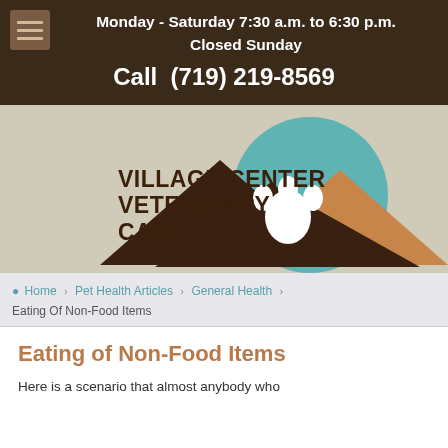Monday - Saturday 7:30 a.m. to 6:30 p.m.
Closed Sunday
Call (719) 219-8569
[Figure (logo): Village Center Veterinary Care logo with teal circle, mountain silhouette, and paw print]
Home > Pet Health Articles > General Health > Eating Of Non-Food Items
Eating of Non-Food Items
Here is a scenario that almost anybody who